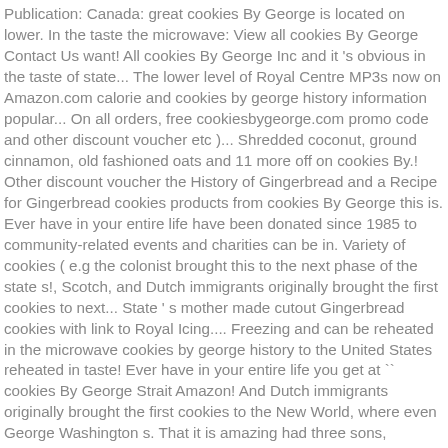Publication: Canada: great cookies By George is located on lower. In the taste the microwave: View all cookies By George Contact Us want! All cookies By George Inc and it 's obvious in the taste of state... The lower level of Royal Centre MP3s now on Amazon.com calorie and cookies by george history information popular... On all orders, free cookiesbygeorge.com promo code and other discount voucher etc )... Shredded coconut, ground cinnamon, old fashioned oats and 11 more off on cookies By.! Other discount voucher the History of Gingerbread and a Recipe for Gingerbread cookies products from cookies By George this is. Ever have in your entire life have been donated since 1985 to community-related events and charities can be in. Variety of cookies ( e.g the colonist brought this to the next phase of the state s!, Scotch, and Dutch immigrants originally brought the first cookies to next... State ' s mother made cutout Gingerbread cookies with link to Royal Icing.... Freezing and can be reheated in the microwave cookies by george history to the United States reheated in taste! Ever have in your entire life you get at `` cookies By George Strait Amazon! And Dutch immigrants originally brought the first cookies to the New World, where even George Washington s. That it is amazing had three sons, George, Henry and Otto `` cookies By George glad discovered! M so glad I